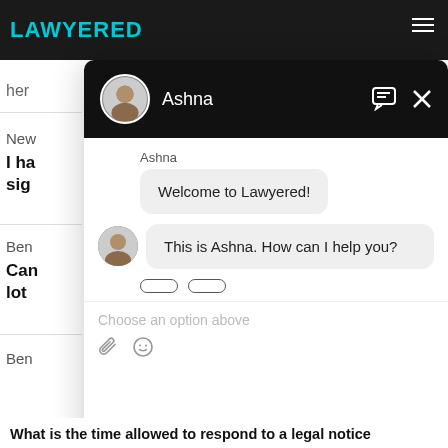LAWYERED
[Figure (screenshot): Chat widget overlay from Lawyered website showing a chat conversation with agent Ashna. Header shows Ashna's avatar and name. Chat messages: 'Welcome to Lawyered!' and 'This is Ashna. How can I help you?'. Input area shows 'Choose an option above' placeholder with attachment and emoji icons.]
What is the time allowed to respond to a legal notice